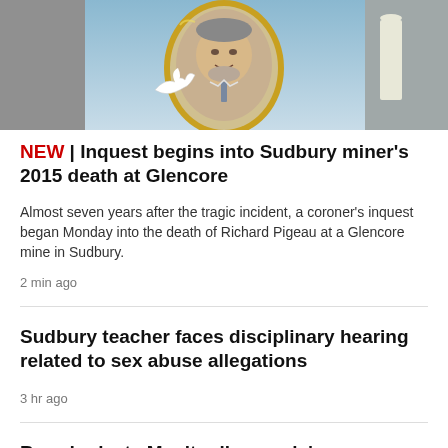[Figure (photo): Memorial photo illustration showing a man's portrait in an oval gold frame with a white dove, against a light blue background with candle]
NEW | Inquest begins into Sudbury miner's 2015 death at Glencore
Almost seven years after the tragic incident, a coroner's inquest began Monday into the death of Richard Pigeau at a Glencore mine in Sudbury.
2 min ago
Sudbury teacher faces disciplinary hearing related to sex abuse allegations
3 hr ago
Board rejects Manitoulin couple's complaints about manure, flies from neighbour's farm